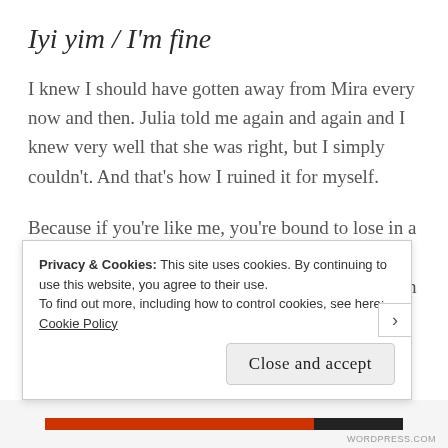Iyi yim / I'm fine
I knew I should have gotten away from Mira every now and then. Julia told me again and again and I knew very well that she was right, but I simply couldn't. And that's how I ruined it for myself.
Because if you're like me, you're bound to lose in a situation like that. In an apartment where you suddenly start hearing noises that aren't there. With a consulate member telling you that the offenders'
Privacy & Cookies: This site uses cookies. By continuing to use this website, you agree to their use.
To find out more, including how to control cookies, see here: Cookie Policy
Close and accept